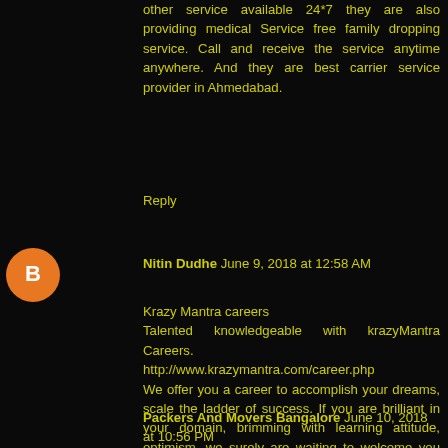other service available 24*7 they are also providing medical Service free family dropping service. Call and receive the service anytime anywhere. And they are best carrier service provider in Ahmedabad.
Reply
Nitin Dudhe June 9, 2018 at 12:58 AM
Krazy Mantra careers
Talented knowledgeable with krazyMantra Careers.
http://www.krazymantra.com/career.php
We offer you a career to accomplish your dreams, scale the ladder of success. If you are brilliant in your domain, brimming with learning attitude, optimism, we surely are waiting to welcome you onboard we here to bring excellent talents of your towards the Goals.
Reply
Packers And Movers Bangalore June 10, 2018 at 10:56 PM